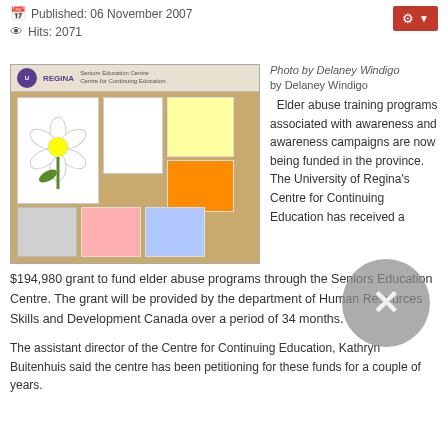Published: 06 November 2007
Hits: 2071
[Figure (photo): Bulletin board at University of Regina Seniors Education Centre / Centre for Continuing Education, showing a flower poster and various notices pinned to a cork board]
Photo by Delaney Windigo
by Delaney Windigo
Elder abuse training programs associated with awareness and awareness campaigns are now being funded in the province. The University of Regina's Centre for Continuing Education has received a $194,980 grant to fund elder abuse programs through the Seniors Education Centre. The grant will be provided by the department of Human Resources Skills and Development Canada over a period of 34 months.
The assistant director of the Centre for Continuing Education, Kathryn Buitenhuis said the centre has been petitioning for these funds for a couple of years.